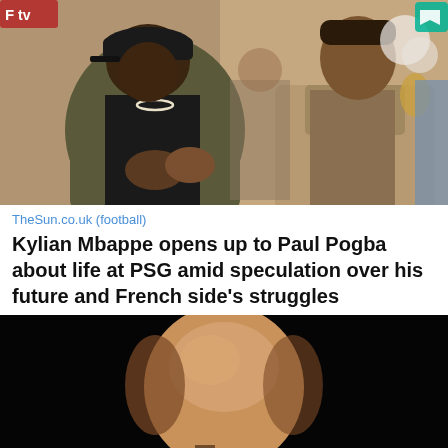[Figure (photo): Two men greeting or talking to each other indoors. One man on the left is tall, wearing a black cap, black hoodie, olive/khaki oversized coat and a pearl necklace. The man on the right is wearing a tan/beige trench coat. Background shows an indoor hotel/lobby setting with flowers. Top-left corner has a red/orange TV logo overlay. Top-right corner has a teal/green logo.]
TheSun.co.uk (football)
Kylian Mbappe opens up to Paul Pogba about life at PSG amid speculation over his future and French side's struggles
[Figure (photo): Close-up photo of the top/back of a bald man's head against a black background, with partial view of a hand or microphone at the bottom.]